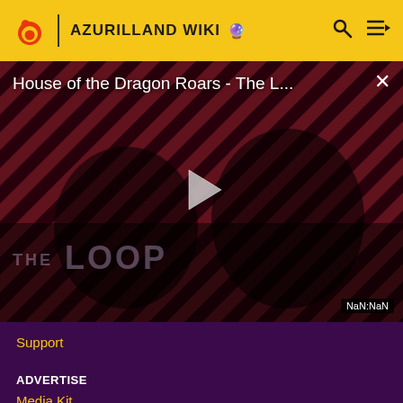AZURILLAND WIKI
[Figure (screenshot): Video player showing 'House of the Dragon Roars - The L...' with a play button in the center, diagonal red and dark stripe background, two figures visible, 'THE LOOP' branding text, close button (×) in upper right, and NaN:NaN timestamp label in lower right corner.]
Support
ADVERTISE
Media Kit